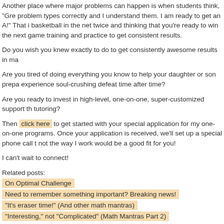Another place where major problems can happen is when students think, "Gre problem types correctly and I understand them. I am ready to get an A!" That i basketball in the net twice and thinking that you're ready to win the next game training and practice to get consistent results.
Do you wish you knew exactly to do to get consistently awesome results in ma
Are you tired of doing everything you know to help your daughter or son prepa experience soul-crushing defeat time after time?
Are you ready to invest in high-level, one-on-one, super-customized support th tutoring?
Then click here to get started with your special application for my one-on-one programs. Once your application is received, we'll set up a special phone call t not the way I work would be a good fit for you!
I can't wait to connect!
Related posts:
On Optimal Challenge
Need to remember something important? Breaking news!
"It's eraser time!" (And other math mantras)
"Interesting," not "Complicated" (Math Mantras Part 2)